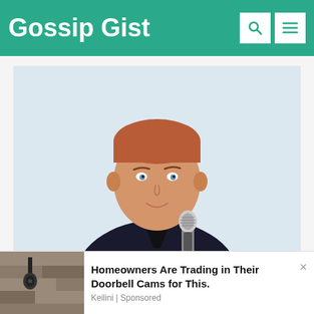Gossip Gist
[Figure (photo): A red-haired man in a dark blazer holding a microphone, smiling slightly, against a white/light blue background.]
Who is Alex Belfield – Bio, Net
[Figure (photo): Advertisement: Homeowners Are Trading in Their Doorbell Cams for This. Keilini | Sponsored. Image shows a security camera on a stone wall.]